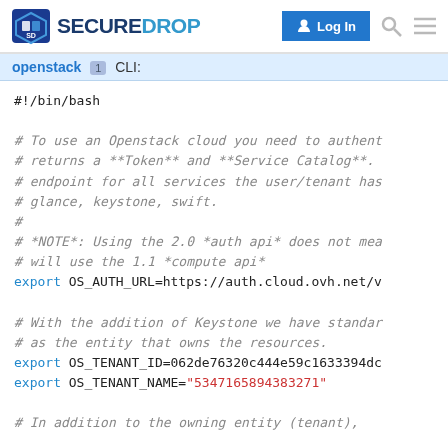SecureDrop | Log In
openstack 1 CLI:
#!/bin/bash

# To use an Openstack cloud you need to authent
# returns a **Token** and **Service Catalog**.
# endpoint for all services the user/tenant has
# glance, keystone, swift.
#
# *NOTE*: Using the 2.0 *auth api* does not mea
# will use the 1.1 *compute api*
export OS_AUTH_URL=https://auth.cloud.ovh.net/v

# With the addition of Keystone we have standar
# as the entity that owns the resources.
export OS_TENANT_ID=062de76320c444e59c1633394dc
export OS_TENANT_NAME="5347165894383271"

# In addition to the owning entity (tenant),